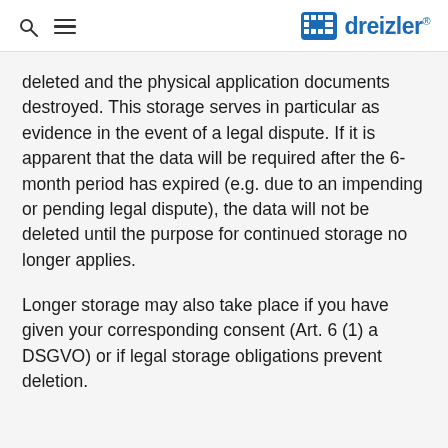dr dreizler®
deleted and the physical application documents destroyed. This storage serves in particular as evidence in the event of a legal dispute. If it is apparent that the data will be required after the 6-month period has expired (e.g. due to an impending or pending legal dispute), the data will not be deleted until the purpose for continued storage no longer applies.
Longer storage may also take place if you have given your corresponding consent (Art. 6 (1) a DSGVO) or if legal storage obligations prevent deletion.